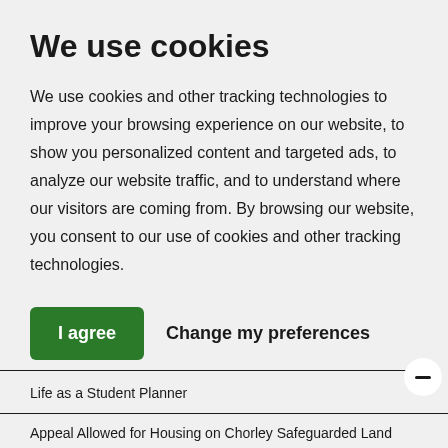We use cookies
We use cookies and other tracking technologies to improve your browsing experience on our website, to show you personalized content and targeted ads, to analyze our website traffic, and to understand where our visitors are coming from. By browsing our website, you consent to our use of cookies and other tracking technologies.
I agree
Change my preferences
Life as a Student Planner
Appeal Allowed for Housing on Chorley Safeguarded Land